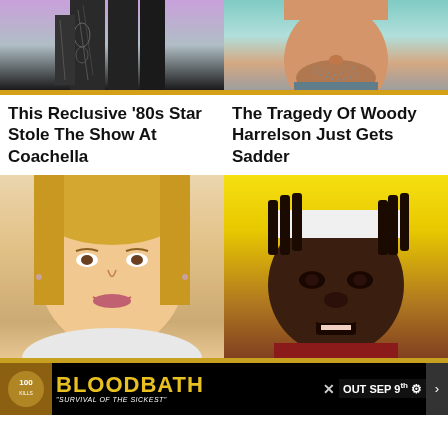[Figure (photo): Cropped photo of a person with tattoos on arms, wearing black, with colorful background]
[Figure (photo): Cropped close-up photo of a man with grey stubble beard on teal background]
This Reclusive '80s Star Stole The Show At Coachella
The Tragedy Of Woody Harrelson Just Gets Sadder
[Figure (photo): Portrait photo of a blonde woman smiling]
[Figure (photo): Close-up photo of a young Black man wearing a white headband, football uniform]
It's Fa... Helen is... erge ... ayne
[Figure (other): Advertisement banner for BLOODBATH 'Survival of the Sickest' game - Out Sep 9th]